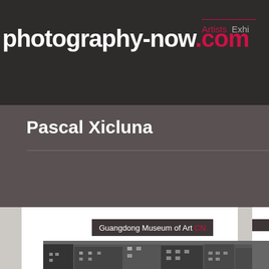photography-now.com | Artists | Exhi...
Pascal Xicluna
[Figure (screenshot): Black and white photograph of urban buildings, shown in a gallery card labeled 'Guangdong Museum of Art CN']
Guangdong Museum of Art  CN